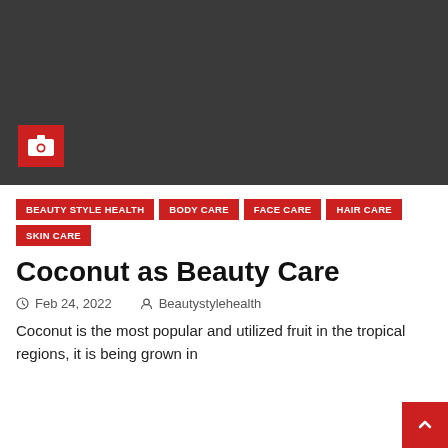[Figure (photo): Dark placeholder hero image with a red camera icon box in the lower left corner]
BEAUTY STYLE HEALTH
BODY CARE
FACE CARE
HAIR CARE
SKIN CARE
Coconut as Beauty Care
Feb 24, 2022   Beautystylehealth
Coconut is the most popular and utilized fruit in the tropical regions, it is being grown in